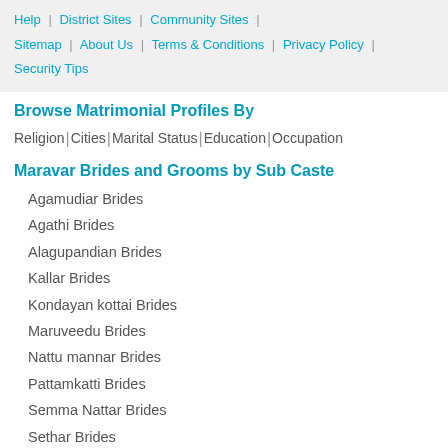Help | District Sites | Community Sites | Sitemap | About Us | Terms & Conditions | Privacy Policy | Security Tips
Browse Matrimonial Profiles By
Religion | Cities | Marital Status | Education | Occupation
Maravar Brides and Grooms by Sub Caste
Agamudiar Brides
Agathi Brides
Alagupandian Brides
Kallar Brides
Kondayan kottai Brides
Maruveedu Brides
Nattu mannar Brides
Pattamkatti Brides
Semma Nattar Brides
Sethar Brides
Seyankondar Brides